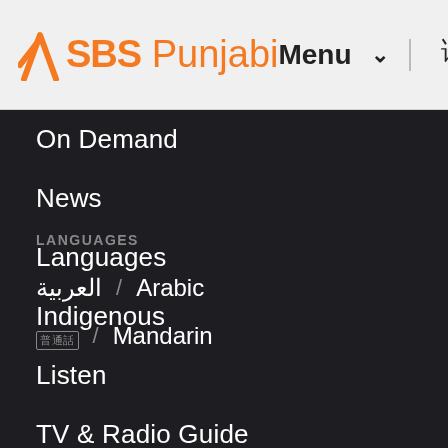SBS Punjabi — Menu
On Demand
News
Languages
Indigenous
Listen
TV & Radio Guide
Food
Sport
Voices
Teaching Resources
LANGUAGES
العربية / Arabic
普通話 / Mandarin